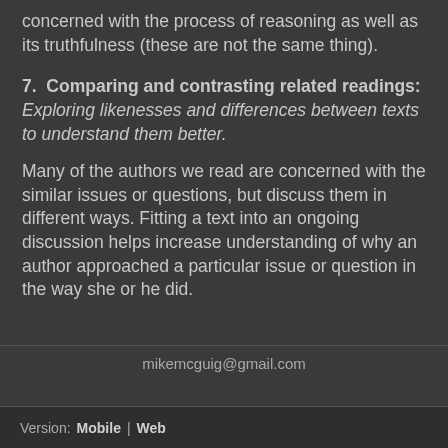concerned with the process of reasoning as well as its truthfulness (these are not the same thing).
7.  Comparing and contrasting related readings: Exploring likenesses and differences between texts to understand them better.
Many of the authors we read are concerned with the similar issues or questions, but discuss them in different ways. Fitting a text into an ongoing discussion helps increase understanding of why an author approached a particular issue or question in the way she or he did.
mikemcguig@gmail.com
Version:  Mobile  |  Web